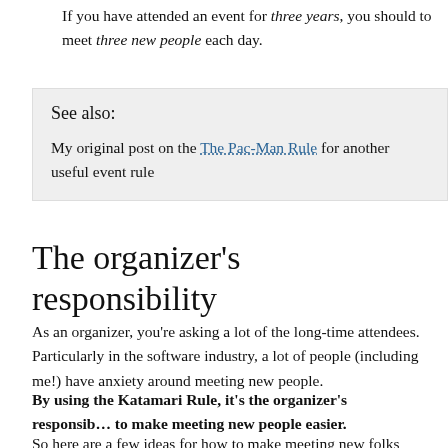If you have attended an event for three years, you should to meet three new people each day.
See also:
My original post on the The Pac-Man Rule for another useful event rule
The organizer's responsibility
As an organizer, you're asking a lot of the long-time attendees. Particularly in the software industry, a lot of people (including me!) have anxiety around meeting new people.
By using the Katamari Rule, it's the organizer's responsibility to make meeting new people easier.
So here are a few ideas for how to make meeting new folks